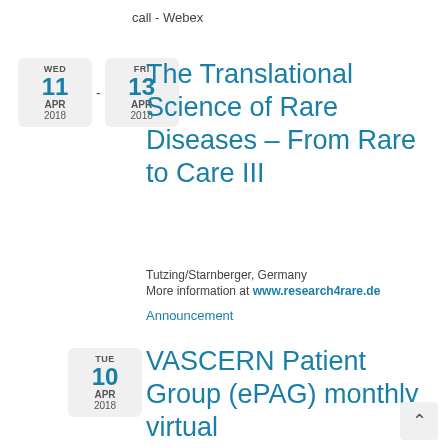call - Webex
The Translational Science of Rare Diseases – From Rare to Care III
Tutzing/Starnberger, Germany
More information at www.research4rare.de
Announcement
VASCERN Patient Group (ePAG) monthly virtual